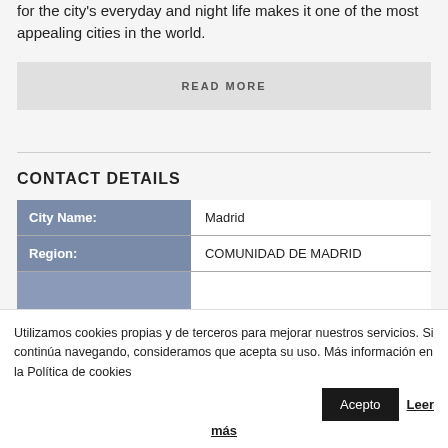for the city's everyday and night life makes it one of the most appealing cities in the world.
READ MORE
CONTACT DETAILS
|  |  |
| --- | --- |
| City Name: | Madrid |
| Region: | COMUNIDAD DE MADRID |
|  |  |
Utilizamos cookies propias y de terceros para mejorar nuestros servicios. Si continúa navegando, consideramos que acepta su uso. Más información en la Política de cookies   Acepto   Leer más